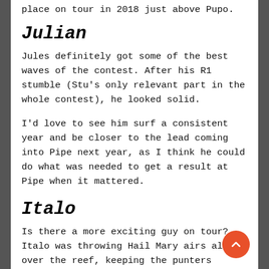place on tour in 2018 just above Pupo.
Julian
Jules definitely got some of the best waves of the contest. After his R1 stumble (Stu's only relevant part in the whole contest), he looked solid.
I'd love to see him surf a consistent year and be closer to the lead coming into Pipe next year, as I think he could do what was needed to get a result at Pipe when it mattered.
Italo
Is there a more exciting guy on tour? Italo was throwing Hail Mary airs all over the reef, keeping the punters guessing and his opponents shitting their pants.
Italo potentially requalified in what I believe to be a record 3 different ways this year. He finished top